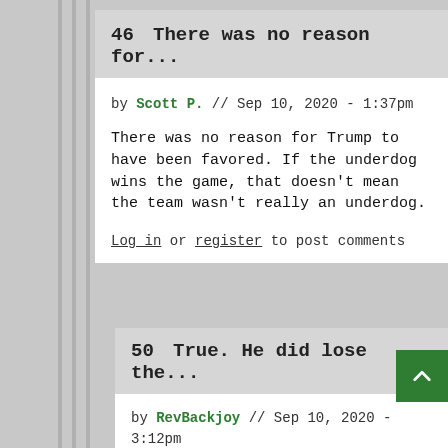46  There was no reason for...
by Scott P. // Sep 10, 2020 - 1:37pm
There was no reason for Trump to have been favored. If the underdog wins the game, that doesn't mean the team wasn't really an underdog.
Log in or register to post comments
50  True. He did lose the...
by RevBackjoy // Sep 10, 2020 - 3:12pm
True. He did lose the popular vote,